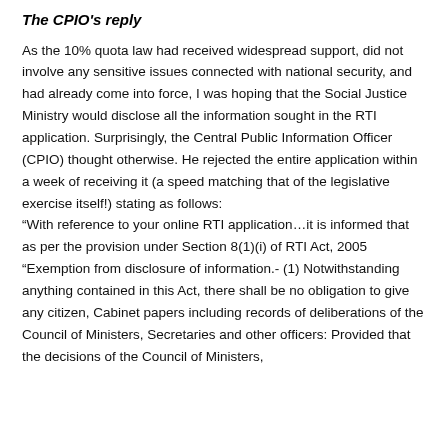The CPIO's reply
As the 10% quota law had received widespread support, did not involve any sensitive issues connected with national security, and had already come into force, I was hoping that the Social Justice Ministry would disclose all the information sought in the RTI application. Surprisingly, the Central Public Information Officer (CPIO) thought otherwise. He rejected the entire application within a week of receiving it (a speed matching that of the legislative exercise itself!) stating as follows:
“With reference to your online RTI application…it is informed that as per the provision under Section 8(1)(i) of RTI Act, 2005 “Exemption from disclosure of information.- (1) Notwithstanding anything contained in this Act, there shall be no obligation to give any citizen, Cabinet papers including records of deliberations of the Council of Ministers, Secretaries and other officers: Provided that the decisions of the Council of Ministers,